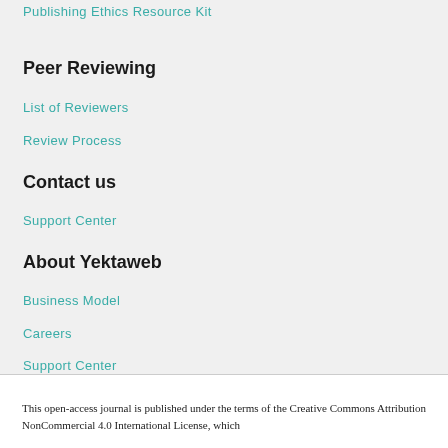Publishing Ethics Resource Kit
Peer Reviewing
List of Reviewers
Review Process
Contact us
Support Center
About Yektaweb
Business Model
Careers
Support Center
This open-access journal is published under the terms of the Creative Commons Attribution NonCommercial 4.0 International License, which